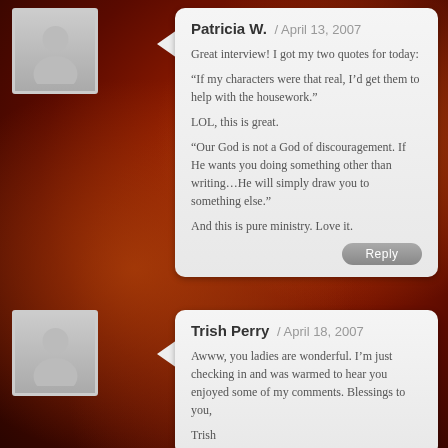Patricia W. / April 13, 2007
Great interview! I got my two quotes for today:
“If my characters were that real, I’d get them to help with the housework.”
LOL, this is great.
“Our God is not a God of discouragement. If He wants you doing something other than writing…He will simply draw you to something else.”
And this is pure ministry. Love it.
Reply
Trish Perry / April 18, 2007
Awww, you ladies are wonderful. I’m just checking in and was warmed to hear you enjoyed some of my comments. Blessings to you,
Trish